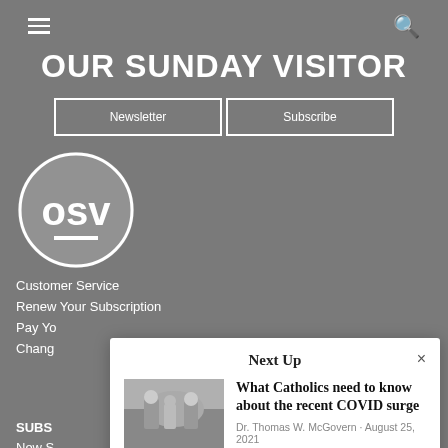OUR SUNDAY VISITOR
Newsletter | Subscribe
[Figure (logo): OSV circular logo with letters 'osv' and a horizontal line beneath]
Customer Service
Renew Your Subscription
Pay Yo[ur Bill]
Chang[e Address]
SUBS[CRIPTIONS]
New S[ubscription]
Gift Su[bscription]
Digita[l]
Next Up
What Catholics need to know about the recent COVID surge
Dr. Thomas W. McGovern · August 25, 2021